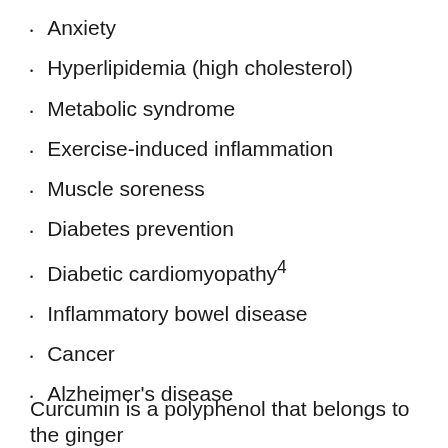Anxiety
Hyperlipidemia (high cholesterol)
Metabolic syndrome
Exercise-induced inflammation
Muscle soreness
Diabetes prevention
Diabetic cardiomyopathy⁴
Inflammatory bowel disease
Cancer
Alzheimer's disease
Curcumin is a polyphenol that belongs to the ginger